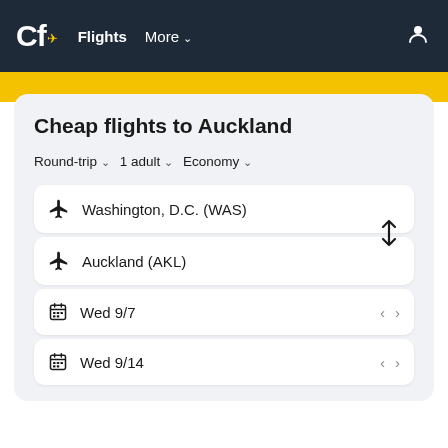Cf. Flights  More
Cheap flights to Auckland
Round-trip  1 adult  Economy
Washington, D.C. (WAS)
Auckland (AKL)
Wed 9/7
Wed 9/14